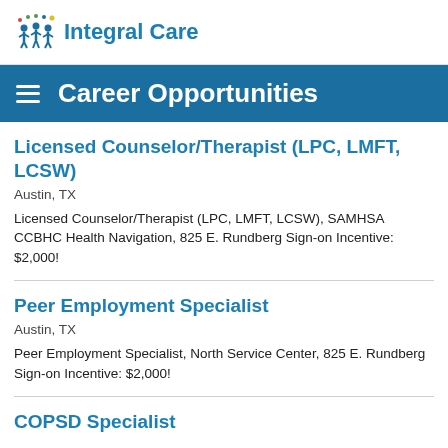Integral Care
Career Opportunities
Licensed Counselor/Therapist (LPC, LMFT, LCSW)
Austin, TX
Licensed Counselor/Therapist (LPC, LMFT, LCSW), SAMHSA CCBHC Health Navigation, 825 E. Rundberg Sign-on Incentive: $2,000!
Peer Employment Specialist
Austin, TX
Peer Employment Specialist, North Service Center, 825 E. Rundberg Sign-on Incentive: $2,000!
COPSD Specialist